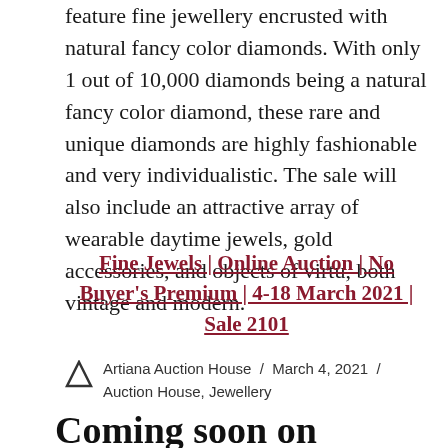feature fine jewellery encrusted with natural fancy color diamonds. With only 1 out of 10,000 diamonds being a natural fancy color diamond, these rare and unique diamonds are highly fashionable and very individualistic. The sale will also include an attractive array of wearable daytime jewels, gold accessories, and objects of virtu, both vintage and modern.
Fine Jewels | Online Auction | No Buyer's Premium | 4-18 March 2021 | Sale 2101
Artiana Auction House / March 4, 2021 / Auction House, Jewellery
Coming soon on Artiana: